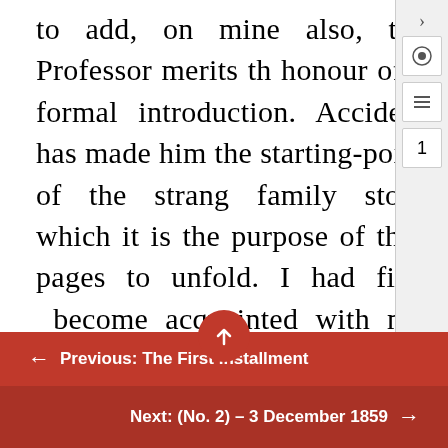to add, on mine also, the Professor merits the honour of a formal introduction. Accident has made him the starting-point of the strange family story which it is the purpose of these pages to unfold. I had first become acquainted with my Italian friend by meeting him at certain great houses, where he taught his own language and I taught drawing. All I then knew of the history of his life was, that he had once held a situation in the University of Padua; that he had left Italy for political reasons (the nature of which he uniformly declined to mention to anyone); and that he had been for many years respectably
← Previous: The First Installment
Next: (No. 2) – 3 December 1859 →